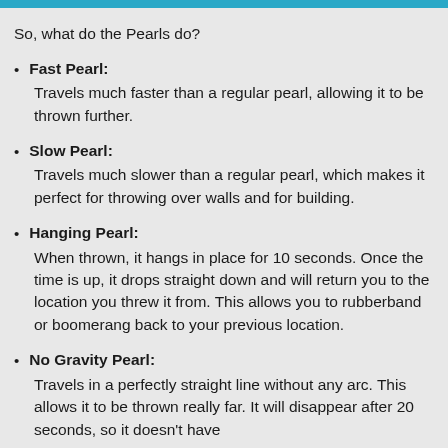So, what do the Pearls do?
Fast Pearl: Travels much faster than a regular pearl, allowing it to be thrown further.
Slow Pearl: Travels much slower than a regular pearl, which makes it perfect for throwing over walls and for building.
Hanging Pearl: When thrown, it hangs in place for 10 seconds. Once the time is up, it drops straight down and will return you to the location you threw it from. This allows you to rubberband or boomerang back to your previous location.
No Gravity Pearl: Travels in a perfectly straight line without any arc. This allows it to be thrown really far. It will disappear after 20 seconds, so it doesn't have